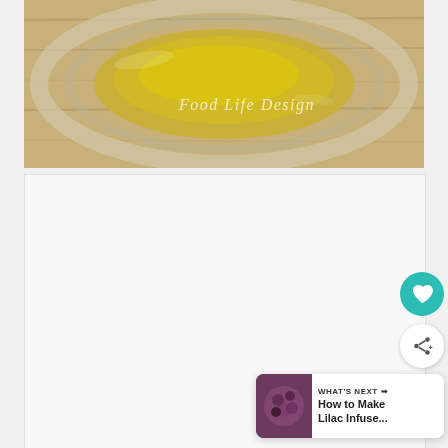[Figure (photo): Close-up photo of olive oil in a glass bowl on a wooden surface, with a 'Food Life Design' watermark in white italic script]
[Figure (screenshot): White/light gray content area with image carousel dots, a teal heart/favorite button, a white share button, and a 'What's Next: How to Make Lilac Infuse...' card in the bottom right corner]